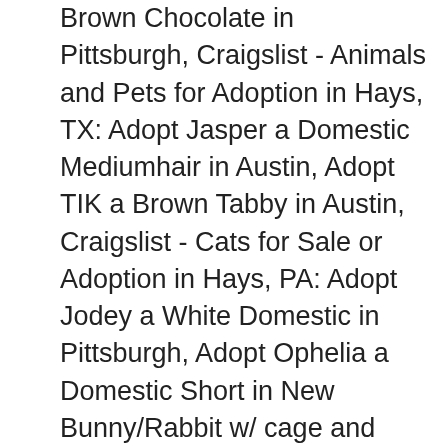Brown Chocolate in Pittsburgh, Craigslist - Animals and Pets for Adoption in Hays, TX: Adopt Jasper a Domestic Mediumhair in Austin, Adopt TIK a Brown Tabby in Austin, Craigslist - Cats for Sale or Adoption in Hays, PA: Adopt Jodey a White Domestic in Pittsburgh, Adopt Ophelia a Domestic Short in New Bunny/Rabbit w/ cage and food $ Rehoming two male guinea pigs-$ (Yakima ) pic hide this posting restore restore this posting. Nov We have collected the best sources for Hays deals, Hays classifieds, garage sales, pet adoptions and more. posted today. We have collected the best sources for Hays County deals, Hays County classifieds, garage sales, pet adoptions and